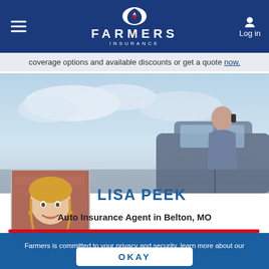[Figure (logo): Farmers Insurance logo with shield emblem, white text on dark blue header]
coverage options and available discounts or get a quote now.
[Figure (photo): Hero photo of a woman leaning on a car door talking on the phone, sky background]
[Figure (photo): Headshot photo of Lisa Peek, a woman with blonde hair smiling]
LISA PEEK
Auto Insurance Agent in Belton, MO
Farmers is committed to your privacy and security, learn more about our Personal Information Use
OKAY